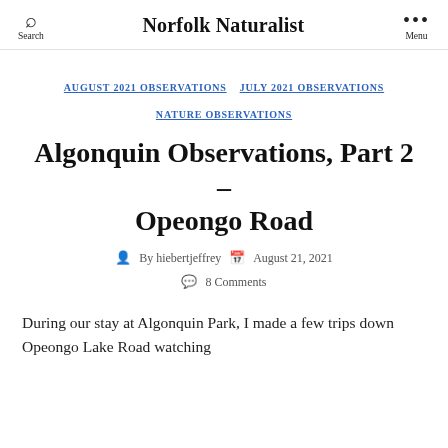Norfolk Naturalist
AUGUST 2021 OBSERVATIONS  JULY 2021 OBSERVATIONS  NATURE OBSERVATIONS
Algonquin Observations, Part 2 – Opeongo Road
By hiebertjeffrey  August 21, 2021  8 Comments
During our stay at Algonquin Park, I made a few trips down Opeongo Lake Road watching